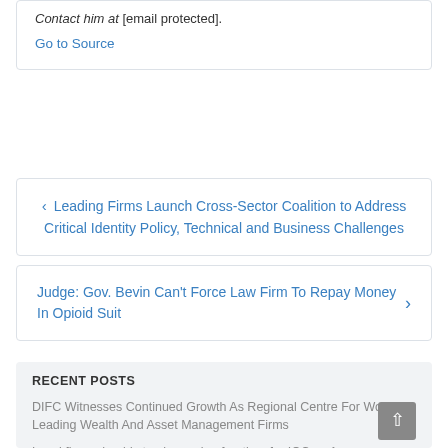Contact him at [email protected].
Go to Source
Leading Firms Launch Cross-Sector Coalition to Address Critical Identity Policy, Technical and Business Challenges
Judge: Gov. Bevin Can't Force Law Firm To Repay Money In Opioid Suit
RECENT POSTS
DIFC Witnesses Continued Growth As Regional Centre For World-Leading Wealth And Asset Management Firms
Local firms should stop becoming frontiers for IOCs – Amewu
Sixties Scoop survivor files Alberta law society complaint